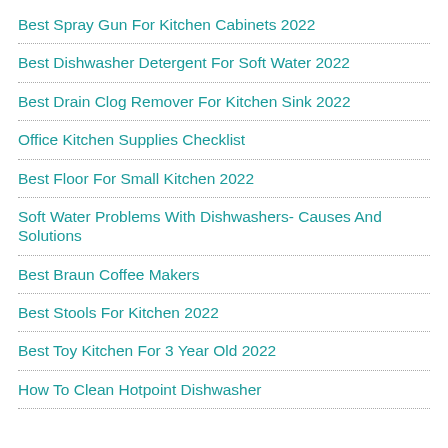Best Spray Gun For Kitchen Cabinets 2022
Best Dishwasher Detergent For Soft Water 2022
Best Drain Clog Remover For Kitchen Sink 2022
Office Kitchen Supplies Checklist
Best Floor For Small Kitchen 2022
Soft Water Problems With Dishwashers- Causes And Solutions
Best Braun Coffee Makers
Best Stools For Kitchen 2022
Best Toy Kitchen For 3 Year Old 2022
How To Clean Hotpoint Dishwasher